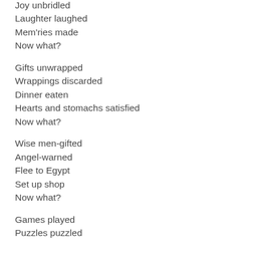Joy unbridled
Laughter laughed
Mem'ries made
Now what?
Gifts unwrapped
Wrappings discarded
Dinner eaten
Hearts and stomachs satisfied
Now what?
Wise men-gifted
Angel-warned
Flee to Egypt
Set up shop
Now what?
Games played
Puzzles puzzled